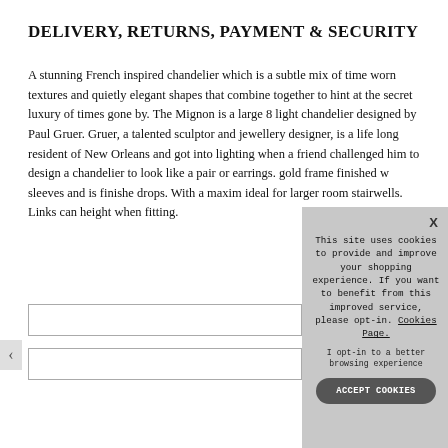DELIVERY, RETURNS, PAYMENT & SECURITY
A stunning French inspired chandelier which is a subtle mix of time worn textures and quietly elegant shapes that combine together to hint at the secret luxury of times gone by. The Mignon is a large 8 light chandelier designed by Paul Gruer. Gruer, a talented sculptor and jewellery designer, is a life long resident of New Orleans and got into lighting when a friend challenged him to design a chandelier to look like a pair or earrings. gold frame finished w sleeves and is finishe drops. With a maxim ideal for larger room stairwells. Links can height when fitting.
[Figure (screenshot): Cookie consent modal overlay with text: 'This site uses cookies to provide and improve your shopping experience. If you want to benefit from this improved service, please opt-in. Cookies Page.' An opt-in link, and an ACCEPT COOKIES button. An X close button in the top right.]